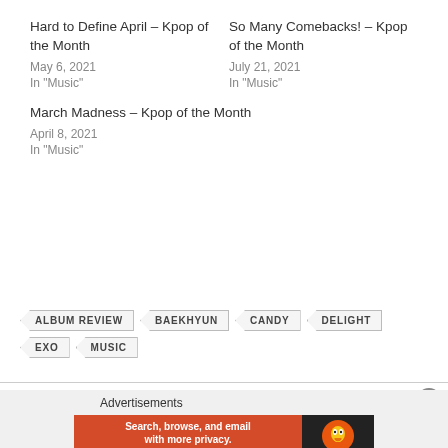Hard to Define April – Kpop of the Month
May 6, 2021
In "Music"
So Many Comebacks! – Kpop of the Month
July 21, 2021
In "Music"
March Madness – Kpop of the Month
April 8, 2021
In "Music"
ALBUM REVIEW
BAEKHYUN
CANDY
DELIGHT
EXO
MUSIC
Advertisements
[Figure (screenshot): DuckDuckGo advertisement banner: 'Search, browse, and email with more privacy. All in One Free App' with DuckDuckGo logo on dark background]